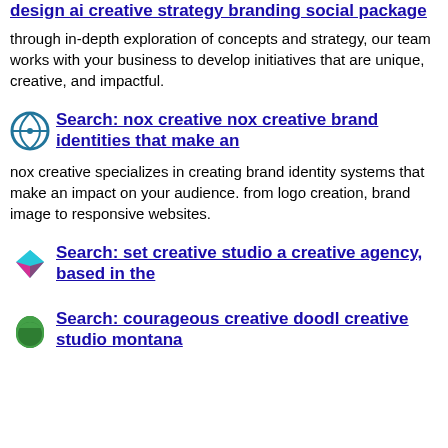design ai creative strategy branding social package
through in-depth exploration of concepts and strategy, our team works with your business to develop initiatives that are unique, creative, and impactful.
Search: nox creative nox creative brand identities that make an
nox creative specializes in creating brand identity systems that make an impact on your audience. from logo creation, brand image to responsive websites.
Search: set creative studio a creative agency, based in the
Search: courageous creative doodl creative studio montana